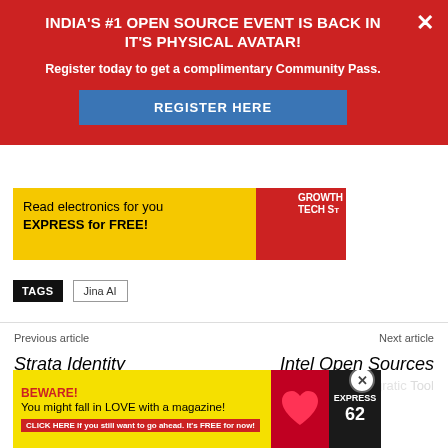[Figure (screenshot): Red promotional banner: INDIA'S #1 OPEN SOURCE EVENT IS BACK IN IT'S PHYSICAL AVATAR! with register button and close X]
[Figure (screenshot): Yellow ad strip: Read electronics for you EXPRESS for FREE!]
TAGS  Jina AI
Previous article  Strata Identity Announces New Project For Multi Cloud Access Po...
Next article  Intel Open Sources CVSmart ic Migratic Tool
[Figure (screenshot): Bottom yellow ad: BEWARE! You might fall in LOVE with a magazine! CLICK HERE if you still want to go ahead. It's FREE for now!]